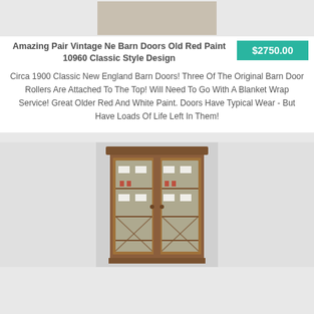[Figure (photo): Partial photo of barn doors with old red paint, showing stone/concrete floor]
Amazing Pair Vintage Ne Barn Doors Old Red Paint 10960 Classic Style Design
$2750.00
Circa 1900 Classic New England Barn Doors! Three Of The Original Barn Door Rollers Are Attached To The Top! Will Need To Go With A Blanket Wrap Service! Great Older Red And White Paint. Doors Have Typical Wear - But Have Loads Of Life Left In Them!
[Figure (photo): Wooden display cabinet with glass doors showing small collectible items inside, multiple shelves]